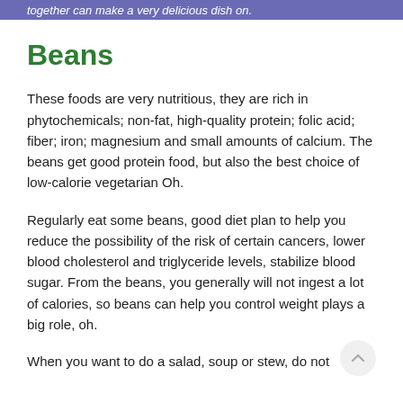together can make a very delicious dish on.
Beans
These foods are very nutritious, they are rich in phytochemicals; non-fat, high-quality protein; folic acid; fiber; iron; magnesium and small amounts of calcium. The beans get good protein food, but also the best choice of low-calorie vegetarian Oh.
Regularly eat some beans, good diet plan to help you reduce the possibility of the risk of certain cancers, lower blood cholesterol and triglyceride levels, stabilize blood sugar. From the beans, you generally will not ingest a lot of calories, so beans can help you control weight plays a big role, oh.
When you want to do a salad, soup or stew, do not